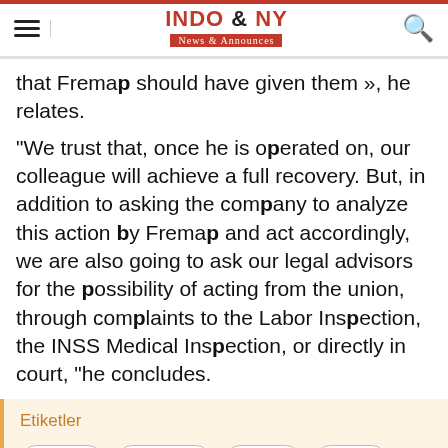INDO & NY News & Announces
that Fremap should have given them », he relates.
"We trust that, once he is operated on, our colleague will achieve a full recovery. But, in addition to asking the company to analyze this action by Fremap and act accordingly, we are also going to ask our legal advisors for the possibility of acting from the union, through complaints to the Labor Inspection, the INSS Medical Inspection, or directly in court, "he concludes.
Etiketler
#mutua
#geacam
#envia
#casa